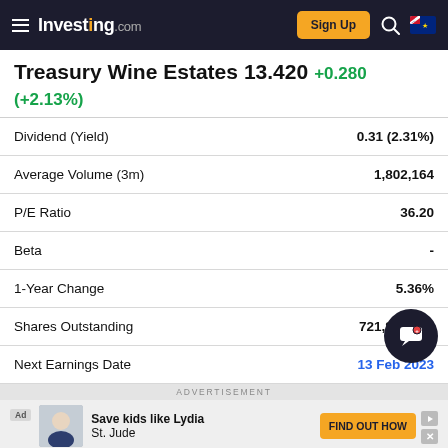Investing.com — Sign Up
Treasury Wine Estates 13.420 +0.280 (+2.13%)
|  |  |
| --- | --- |
| Dividend (Yield) | 0.31 (2.31%) |
| Average Volume (3m) | 1,802,164 |
| P/E Ratio | 36.20 |
| Beta | - |
| 1-Year Change | 5.36% |
| Shares Outstanding | 721,848,176 |
| Next Earnings Date | 13 Feb 2023 |
ADVERTISEMENT
Ad — Save kids like Lydia / St. Jude — FIND OUT HOW